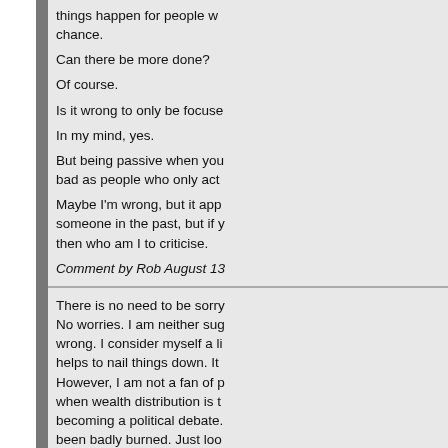things happen for people who chance.
Can there be more done?
Of course.
Is it wrong to only be focuse
In my mind, yes.
But being passive when you bad as people who only act
Maybe I'm wrong, but it app someone in the past, but if y then who am I to criticise.
Comment by Rob August 13
There is no need to be sorry. No worries. I am neither sug wrong. I consider myself a li helps to nail things down. It However, I am not a fan of p when wealth distribution is t becoming a political debate. been badly burned. Just loo
Comment by Dang August 1
You have some views that I great to discuss them some about your view that there is yet you feel individual action